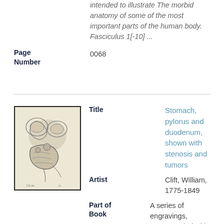intended to illustrate The morbid anatomy of some of the most important parts of the human body. Fasciculus 1[-10] ...
Page Number
0068
[Figure (illustration): Anatomical engraving showing stomach, pylorus and duodenum with stenosis and tumors]
Title
Stomach, pylorus and duodenum, shown with stenosis and tumors
Artist
Clift, William, 1775-1849
Part of Book
A series of engravings, accompanied with explanations, which are intended to illustrate The morbid anatomy of some of the most important